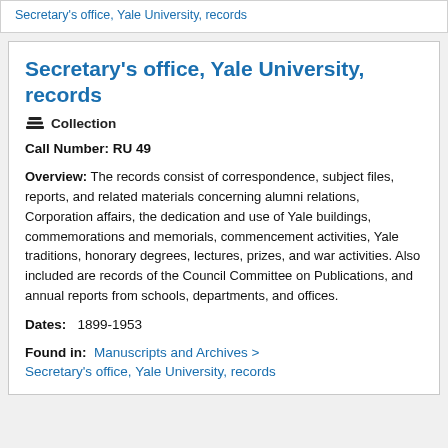Secretary's office, Yale University, records
Secretary's office, Yale University, records
Collection
Call Number: RU 49
Overview: The records consist of correspondence, subject files, reports, and related materials concerning alumni relations, Corporation affairs, the dedication and use of Yale buildings, commemorations and memorials, commencement activities, Yale traditions, honorary degrees, lectures, prizes, and war activities. Also included are records of the Council Committee on Publications, and annual reports from schools, departments, and offices.
Dates: 1899-1953
Found in: Manuscripts and Archives > Secretary's office, Yale University, records